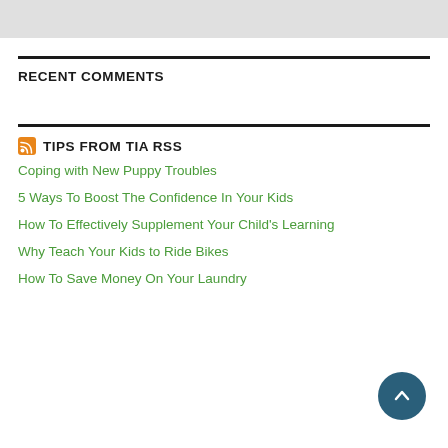[Figure (other): Gray banner/header area at top of page]
RECENT COMMENTS
TIPS FROM TIA RSS
Coping with New Puppy Troubles
5 Ways To Boost The Confidence In Your Kids
How To Effectively Supplement Your Child's Learning
Why Teach Your Kids to Ride Bikes
How To Save Money On Your Laundry